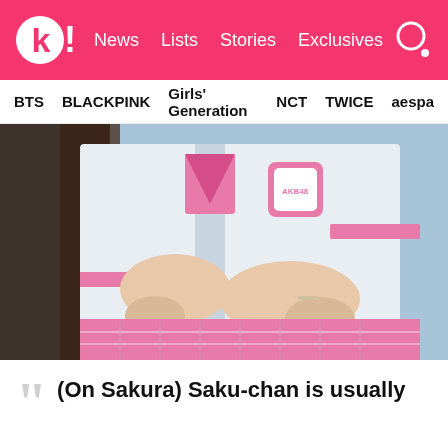k! News  Lists  Stories  Exclusives
BTS  BLACKPINK  Girls' Generation  NCT  TWICE  aespa
[Figure (photo): Two girls in white and pink plaid school uniforms embracing each other. The uniforms feature pink ties/bows and pink plaid skirt. One girl has long black hair. The image is cropped showing torsos and arms only.]
(On Sakura) Saku-chan is usually